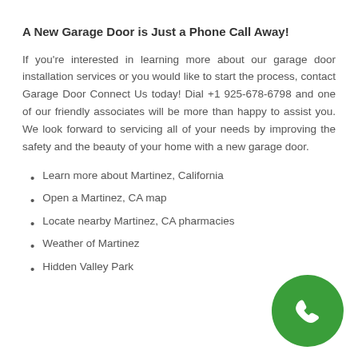A New Garage Door is Just a Phone Call Away!
If you're interested in learning more about our garage door installation services or you would like to start the process, contact Garage Door Connect Us today! Dial +1 925-678-6798 and one of our friendly associates will be more than happy to assist you. We look forward to servicing all of your needs by improving the safety and the beauty of your home with a new garage door.
Learn more about Martinez, California
Open a Martinez, CA map
Locate nearby Martinez, CA pharmacies
Weather of Martinez
Hidden Valley Park
[Figure (illustration): Green circle with white telephone handset icon]